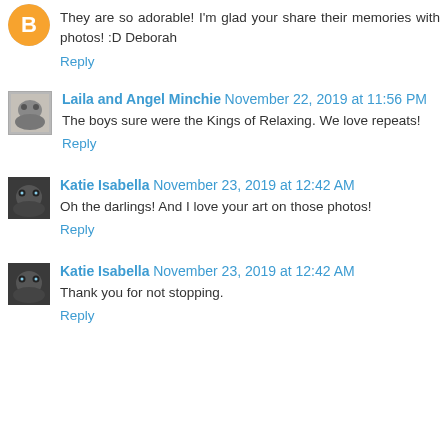They are so adorable! I'm glad your share their memories with photos! :D Deborah
Reply
Laila and Angel Minchie November 22, 2019 at 11:56 PM
The boys sure were the Kings of Relaxing. We love repeats!
Reply
Katie Isabella November 23, 2019 at 12:42 AM
Oh the darlings! And I love your art on those photos!
Reply
Katie Isabella November 23, 2019 at 12:42 AM
Thank you for not stopping.
Reply